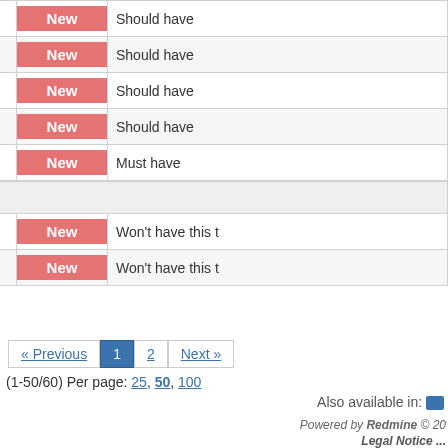|  | ID | Status | Priority |
| --- | --- | --- | --- |
|  | 33215 | New | Should have |
|  | 31955 | New | Should have |
|  | 9514 | New | Should have |
|  | 4704 | New | Should have |
|  | 51100 | New | Must have |
| Task 12 |  |  |  |
|  | 26664 | New | Won't have this |
|  | 26658 | New | Won't have this |
(1-50/60) Per page: 25, 50, 100
Also available in:
Powered by Redmine © 20... Legal Notice ...